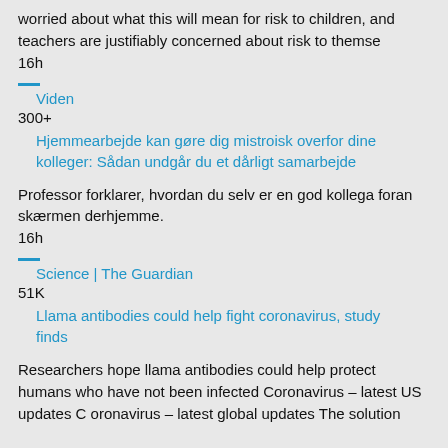worried about what this will mean for risk to children, and teachers are justifiably concerned about risk to themse
16h
Viden
300+
Hjemmearbejde kan gøre dig mistroisk overfor dine kolleger: Sådan undgår du et dårligt samarbejde
Professor forklarer, hvordan du selv er en god kollega foran skærmen derhjemme.
16h
Science | The Guardian
51K
Llama antibodies could help fight coronavirus, study finds
Researchers hope llama antibodies could help protect humans who have not been infected Coronavirus – latest US updates C oronavirus – latest global updates The solution